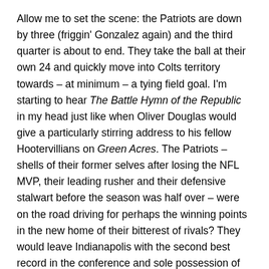Allow me to set the scene: the Patriots are down by three (friggin' Gonzalez again) and the third quarter is about to end. They take the ball at their own 24 and quickly move into Colts territory towards – at minimum – a tying field goal. I'm starting to hear The Battle Hymn of the Republic in my head just like when Oliver Douglas would give a particularly stirring address to his fellow Hootervillians on Green Acres. The Patriots – shells of their former selves after losing the NFL MVP, their leading rusher and their defensive stalwart before the season was half over – were on the road driving for perhaps the winning points in the new home of their bitterest of rivals? They would leave Indianapolis with the second best record in the conference and sole possession of first place in their division?